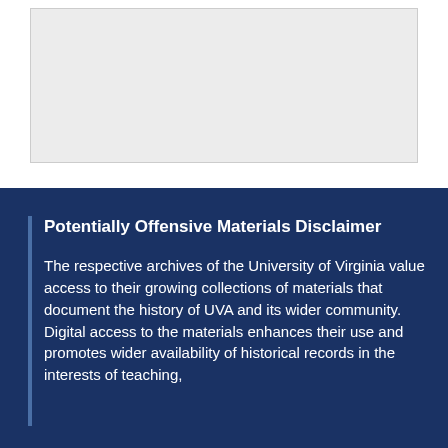[Figure (other): A light gray rectangular image placeholder box]
Potentially Offensive Materials Disclaimer
The respective archives of the University of Virginia value access to their growing collections of materials that document the history of UVA and its wider community. Digital access to the materials enhances their use and promotes wider availability of historical records in the interests of teaching,